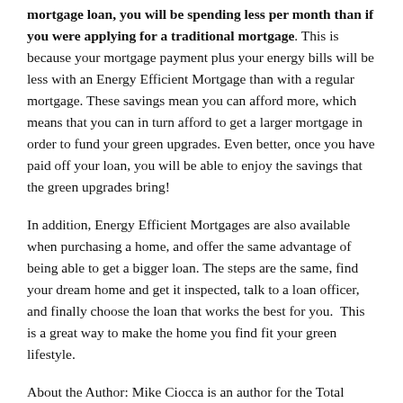mortgage loan, you will be spending less per month than if you were applying for a traditional mortgage. This is because your mortgage payment plus your energy bills will be less with an Energy Efficient Mortgage than with a regular mortgage. These savings mean you can afford more, which means that you can in turn afford to get a larger mortgage in order to fund your green upgrades. Even better, once you have paid off your loan, you will be able to enjoy the savings that the green upgrades bring!
In addition, Energy Efficient Mortgages are also available when purchasing a home, and offer the same advantage of being able to get a bigger loan. The steps are the same, find your dream home and get it inspected, talk to a loan officer, and finally choose the loan that works the best for you.  This is a great way to make the home you find fit your green lifestyle.
About the Author: Mike Ciocca is an author for the Total